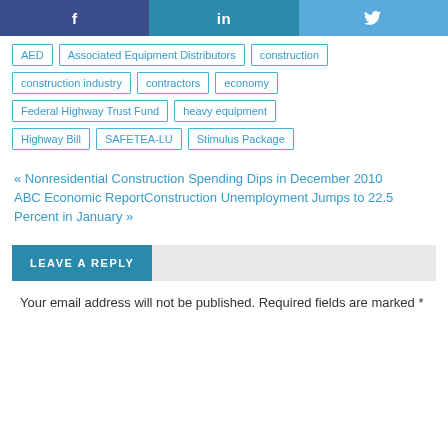[Figure (other): Social share buttons: Facebook (f), LinkedIn (in), Twitter (bird icon)]
AED
Associated Equipment Distributors
construction
construction industry
contractors
economy
Federal Highway Trust Fund
heavy equipment
Highway Bill
SAFETEA-LU
Stimulus Package
« Nonresidential Construction Spending Dips in December 2010
ABC Economic ReportConstruction Unemployment Jumps to 22.5 Percent in January »
LEAVE A REPLY
Your email address will not be published. Required fields are marked *